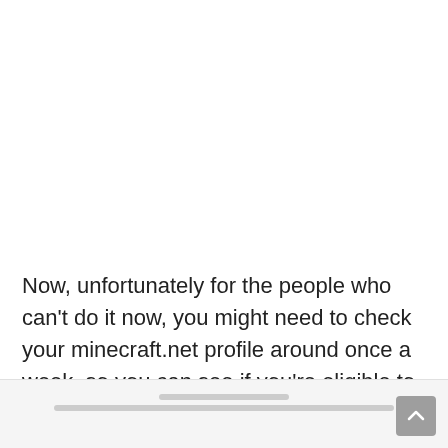Now, unfortunately for the people who can't do it now, you might need to check your minecraft.net profile around once a week, so you can see if you're eligible to migrate.
[footer with links and scroll-to-top button]